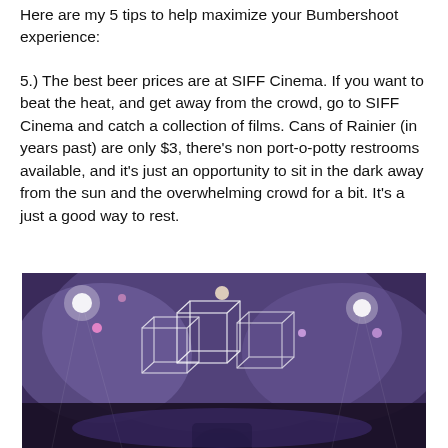Here are my 5 tips to help maximize your Bumbershoot experience:
5.) The best beer prices are at SIFF Cinema.  If you want to beat the heat, and get away from the crowd, go to SIFF Cinema and catch a collection of films.  Cans of Rainier (in years past) are only $3, there's non port-o-potty restrooms available, and it's just an opportunity to sit in the dark away from the sun and the overwhelming crowd for a bit.  It's a just a good way to rest.
[Figure (photo): Concert photo with purple/violet stage lighting showing geometric cube-wire structures on stage with bright spotlights and silhouette of performer or crowd at bottom]